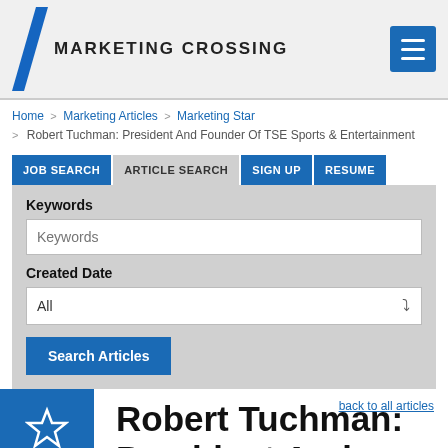[Figure (logo): MarketingCrossing logo with blue diagonal slash and uppercase text MARKETING CROSSING]
Home > Marketing Articles > Marketing Star > Robert Tuchman: President And Founder Of TSE Sports & Entertainment
JOB SEARCH | ARTICLE SEARCH | SIGN UP | RESUME
Keywords
Keywords (input placeholder)
Created Date
All (dropdown)
Search Articles
[Figure (other): Blue RATE box with star icon]
back to all articles
Robert Tuchman: President And Founder Of TSE Sports & Entertainment